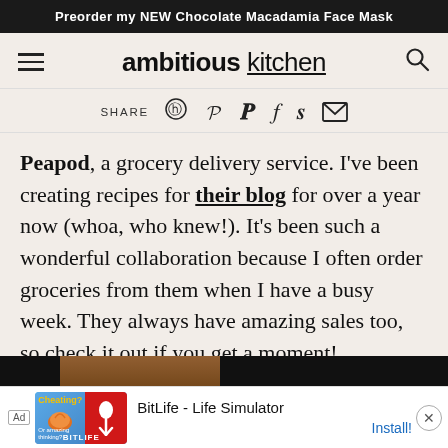Preorder my NEW Chocolate Macadamia Face Mask
[Figure (logo): Ambitious Kitchen logo with hamburger menu and search icon]
SHARE [Pinterest] [Facebook] [Twitter] [Email]
Peapod, a grocery delivery service. I've been creating recipes for their blog for over a year now (whoa, who knew!). It's been such a wonderful collaboration because I often order groceries from them when I have a busy week. They always have amazing sales too, so check it out if you get a moment!
[Figure (photo): Partial food image visible at bottom of page]
[Figure (screenshot): Ad banner: BitLife - Life Simulator with Install button]